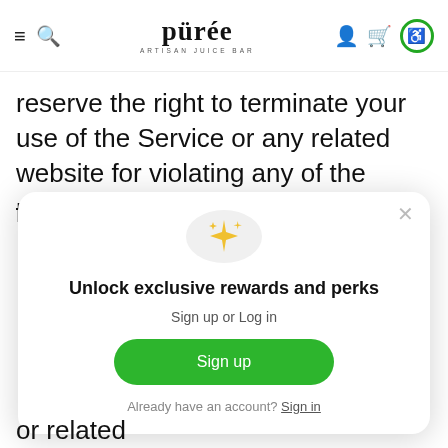Purée Artisan Juice Bar — navigation header with hamburger menu, search, logo, user account, cart, and accessibility button
reserve the right to terminate your use of the Service or any related website for violating any of the prohibited uses
[Figure (screenshot): Modal popup with sparkle icon, title 'Unlock exclusive rewards and perks', subtitle 'Sign up or Log in', green Sign up button, and 'Already have an account? Sign in' link]
or related